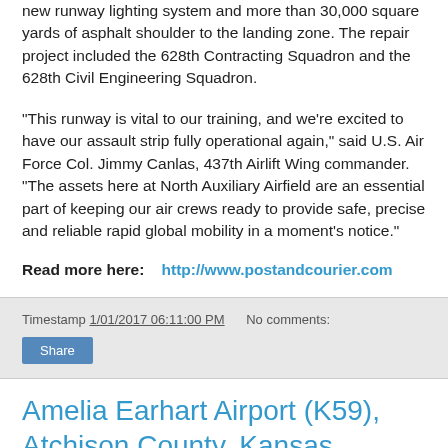new runway lighting system and more than 30,000 square yards of asphalt shoulder to the landing zone. The repair project included the 628th Contracting Squadron and the 628th Civil Engineering Squadron.
"This runway is vital to our training, and we're excited to have our assault strip fully operational again," said U.S. Air Force Col. Jimmy Canlas, 437th Airlift Wing commander. "The assets here at North Auxiliary Airfield are an essential part of keeping our air crews ready to provide safe, precise and reliable rapid global mobility in a moment's notice."
Read more here:    http://www.postandcourier.com
Timestamp 1/01/2017 06:11:00 PM    No comments:
Share
Amelia Earhart Airport (K59), Atchison County, Kansas